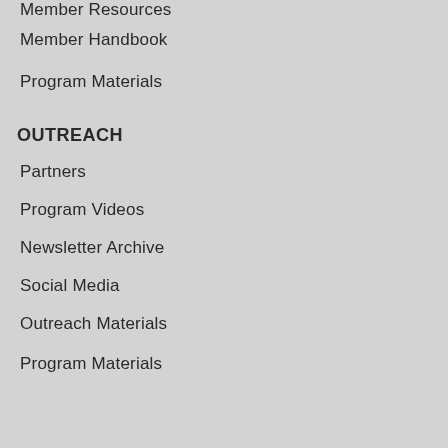Member Resources
Member Handbook
Program Materials
OUTREACH
Partners
Program Videos
Newsletter Archive
Social Media
Outreach Materials
Program Materials
PETITIONS
How to Add a Condition
Petitions Received
APPEALS
Eligibility for Enrollment
Health Condition Certification
Treatment Authorization